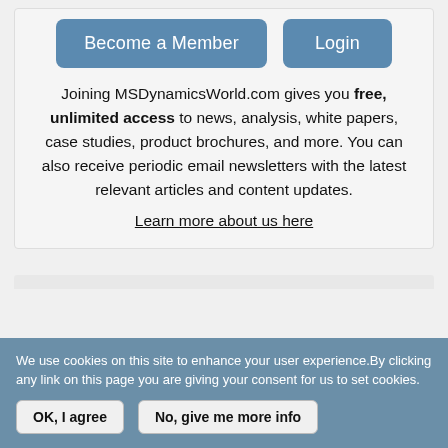[Figure (screenshot): Two buttons: 'Become a Member' (blue, rounded) and 'Login' (blue, rounded)]
Joining MSDynamicsWorld.com gives you free, unlimited access to news, analysis, white papers, case studies, product brochures, and more. You can also receive periodic email newsletters with the latest relevant articles and content updates.
Learn more about us here
We use cookies on this site to enhance your user experience.By clicking any link on this page you are giving your consent for us to set cookies.
OK, I agree
No, give me more info